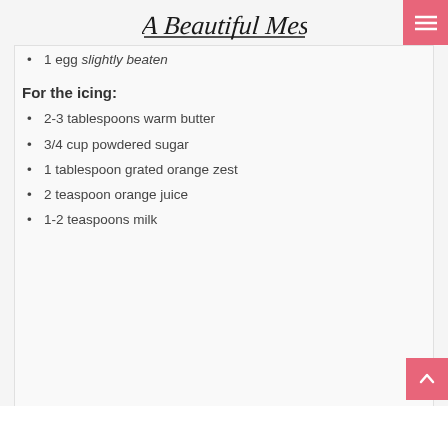A Beautiful Mess
1 egg slightly beaten
For the icing:
2-3 tablespoons warm butter
3/4 cup powdered sugar
1 tablespoon grated orange zest
2 teaspoon orange juice
1-2 teaspoons milk